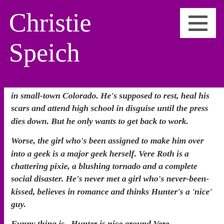Christie Speich
in small-town Colorado. He's supposed to rest, heal his scars and attend high school in disguise until the press dies down. But he only wants to get back to work.
Worse, the girl who's been assigned to make him over into a geek is a major geek herself. Vere Roth is a chattering pixie, a blushing tornado and a complete social disaster. He's never met a girl who's never-been-kissed, believes in romance and thinks Hunter's a 'nice' guy.
Funny thing is...Hunter is nice around Vere